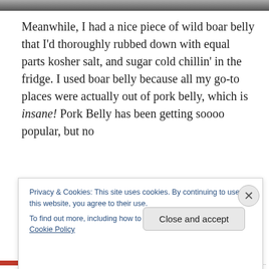[Figure (photo): Top edge of a food photo, partially visible as a dark bar at the top of the page]
Meanwhile, I had a nice piece of wild boar belly that I'd thoroughly rubbed down with equal parts kosher salt, and sugar cold chillin' in the fridge. I used boar belly because all my go-to places were actually out of pork belly, which is insane! Pork Belly has been getting soooo popular, but no
Privacy & Cookies: This site uses cookies. By continuing to use this website, you agree to their use.
To find out more, including how to control cookies, see here: Cookie Policy
Close and accept